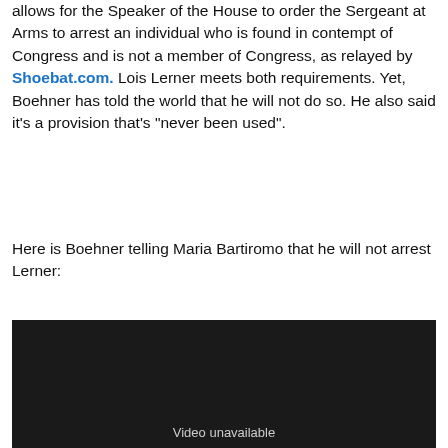allows for the Speaker of the House to order the Sergeant at Arms to arrest an individual who is found in contempt of Congress and is not a member of Congress, as relayed by Shoebat.com. Lois Lerner meets both requirements. Yet, Boehner has told the world that he will not do so. He also said it's a provision that's "never been used".
Here is Boehner telling Maria Bartiromo that he will not arrest Lerner:
[Figure (other): Embedded video player showing dark/black background with 'Video unavailable' text at the bottom center]